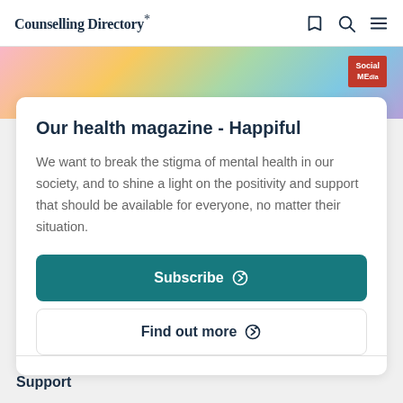Counselling Directory*
[Figure (photo): Colorful magazine cover strip with pink, yellow, green and purple tones. Social MEdia badge visible top right.]
Our health magazine - Happiful
We want to break the stigma of mental health in our society, and to shine a light on the positivity and support that should be available for everyone, no matter their situation.
Subscribe
Find out more
Support